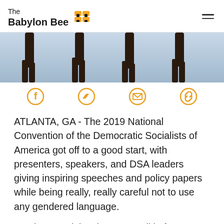The Babylon Bee
[Figure (photo): Silhouette of legs walking, cropped hero image banner]
[Figure (infographic): Social share icons row: Facebook, Twitter, Email, Link]
ATLANTA, GA - The 2019 National Convention of the Democratic Socialists of America got off to a good start, with presenters, speakers, and DSA leaders giving inspiring speeches and policy papers while being really, really careful not to use any gendered language.
But the complaints began to roll in from attendees anyway.